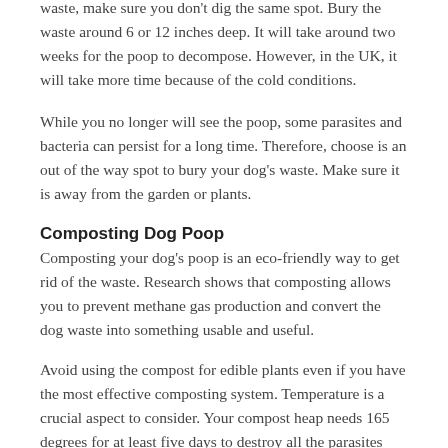waste, make sure you don't dig the same spot. Bury the waste around 6 or 12 inches deep. It will take around two weeks for the poop to decompose. However, in the UK, it will take more time because of the cold conditions.
While you no longer will see the poop, some parasites and bacteria can persist for a long time. Therefore, choose is an out of the way spot to bury your dog's waste. Make sure it is away from the garden or plants.
Composting Dog Poop
Composting your dog's poop is an eco-friendly way to get rid of the waste. Research shows that composting allows you to prevent methane gas production and convert the dog waste into something usable and useful.
Avoid using the compost for edible plants even if you have the most effective composting system. Temperature is a crucial aspect to consider. Your compost heap needs 165 degrees for at least five days to destroy all the parasites and germs within your dog's waste.